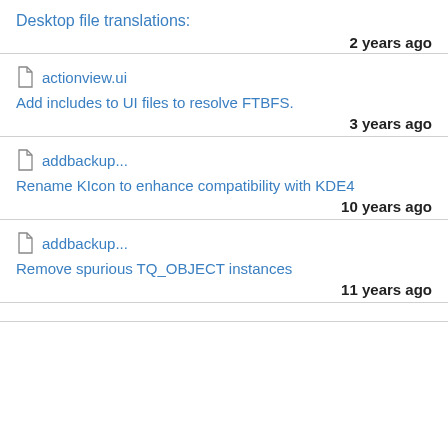Desktop file translations:
2 years ago
actionview.ui
Add includes to UI files to resolve FTBFS.
3 years ago
addbackup...
Rename KIcon to enhance compatibility with KDE4
10 years ago
addbackup...
Remove spurious TQ_OBJECT instances
11 years ago